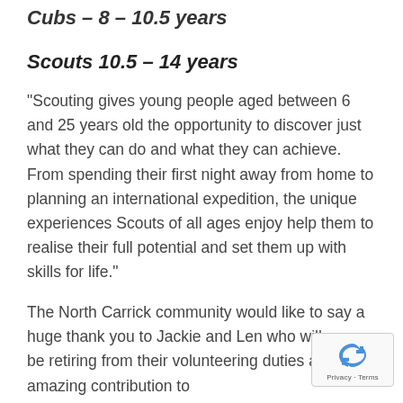Cubs – 8 – 10.5 years
Scouts 10.5 – 14 years
"Scouting gives young people aged between 6 and 25 years old the opportunity to discover just what they can do and what they can achieve. From spending their first night away from home to planning an international expedition, the unique experiences Scouts of all ages enjoy help them to realise their full potential and set them up with skills for life."
The North Carrick community would like to say a huge thank you to Jackie and Len who will soon be retiring from their volunteering duties after an amazing contribution to